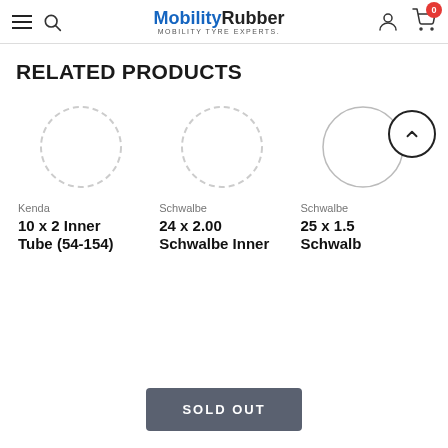MobilityRubber - Mobility Tyre Experts
RELATED PRODUCTS
[Figure (other): Product image placeholder circle (dashed) for Kenda product]
Kenda
10 x 2 Inner Tube (54-154)
[Figure (other): Product image placeholder circle (dashed) for Schwalbe product]
Schwalbe
24 x 2.00 Schwalbe Inner
[Figure (other): Product image placeholder circle (dashed) for Schwalbe product with up arrow navigation button]
Schwalbe
25 x 1.5 Schwalb
SOLD OUT